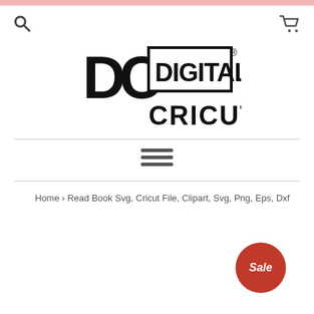[Figure (logo): DC Digital Cricut logo — bold black letters 'DC' with a rectangle containing 'DIGITAL' above and 'CRICUT' below in stencil-style font, with a registered trademark symbol]
[Figure (other): Hamburger menu icon — three horizontal dark grey bars]
Home › Read Book Svg, Cricut File, Clipart, Svg, Png, Eps, Dxf
Sale